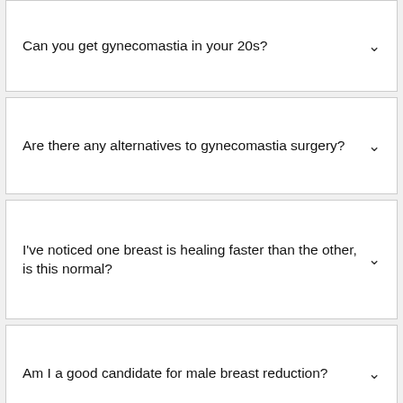Can you get gynecomastia in your 20s?
Are there any alternatives to gynecomastia surgery?
I've noticed one breast is healing faster than the other, is this normal?
Am I a good candidate for male breast reduction?